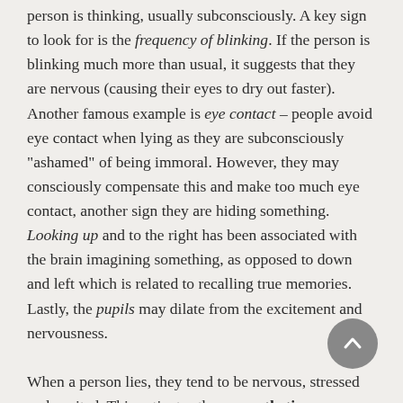person is thinking, usually subconsciously. A key sign to look for is the frequency of blinking. If the person is blinking much more than usual, it suggests that they are nervous (causing their eyes to dry out faster). Another famous example is eye contact – people avoid eye contact when lying as they are subconsciously "ashamed" of being immoral. However, they may consciously compensate this and make too much eye contact, another sign they are hiding something. Looking up and to the right has been associated with the brain imagining something, as opposed to down and left which is related to recalling true memories. Lastly, the pupils may dilate from the excitement and nervousness.

When a person lies, they tend to be nervous, stressed and excited. This activates the sympathetic nervous system, colloquially known as the fight or flight mode